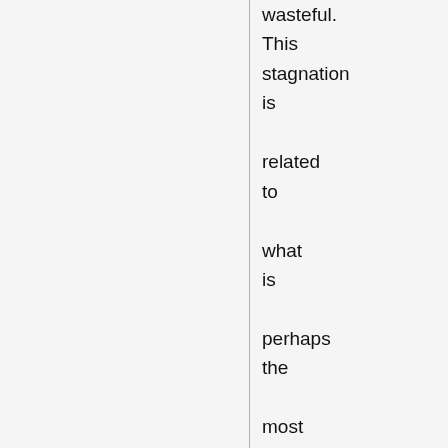tremendously wasteful. This stagnation is related to what is perhaps the most frightening aspect of the